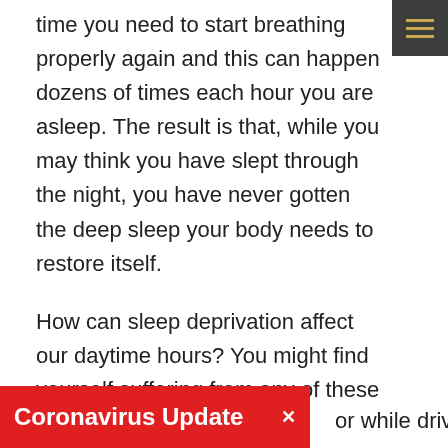time you need to start breathing properly again and this can happen dozens of times each hour you are asleep. The result is that, while you may think you have slept through the night, you have never gotten the deep sleep your body needs to restore itself.
How can sleep deprivation affect our daytime hours? You might find yourself suffering from any of these problems:
Constant drowsiness
or while driving
[Figure (other): Red coronavirus update notification banner with white text 'Coronavirus Update' and an X close button]